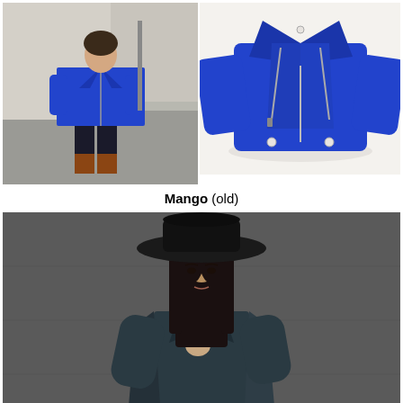[Figure (photo): Woman wearing a blue suede moto jacket with white top, black skinny jeans and leopard print ankle boots, standing on a city street]
[Figure (photo): Blue suede moto/biker jacket laid flat on a white background, showing zipper details]
Mango (old)
[Figure (photo): Dark-haired woman wearing a wide-brim black hat and dark teal/navy leather biker jacket with gold zippers, against a grey wall background]